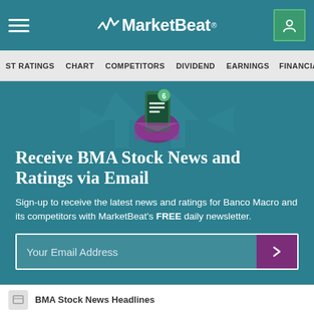MarketBeat
ST RATINGS  CHART  COMPETITORS  DIVIDEND  EARNINGS  FINANCIALS
Receive BMA Stock News and Ratings via Email
Sign-up to receive the latest news and ratings for Banco Macro and its competitors with MarketBeat's FREE daily newsletter.
Your Email Address
BMA Stock News Headlines